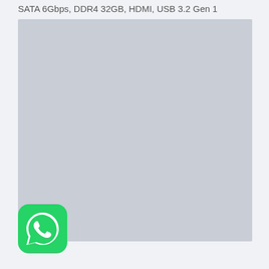SATA 6Gbps, DDR4 32GB, HDMI, USB 3.2 Gen 1
[Figure (other): Large light gray rectangular placeholder image area]
[Figure (logo): WhatsApp logo icon — green rounded square with white phone/chat bubble symbol]